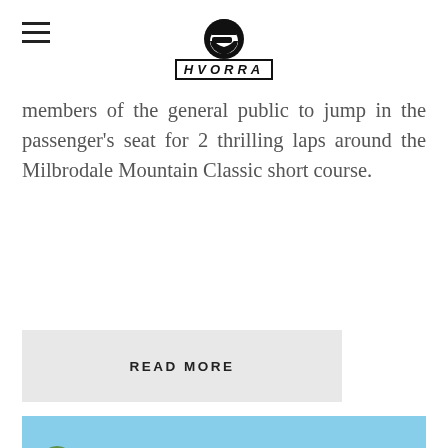HVORRA (logo with helmet icon)
members of the general public to jump in the passenger's seat for 2 thrilling laps around the Milbrodale Mountain Classic short course.
READ MORE
[Figure (photo): Large group of people posing outdoors on grass in front of eucalyptus trees. Some people hold banners reading 'Coal Allied' and 'Canteen'. Mixed group of adults and children, some in hi-vis vests.]